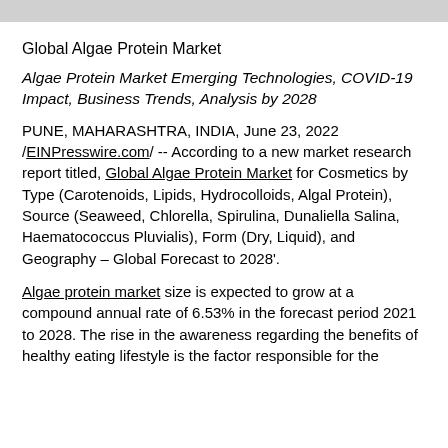Global Algae Protein Market
Algae Protein Market Emerging Technologies, COVID-19 Impact, Business Trends, Analysis by 2028
PUNE, MAHARASHTRA, INDIA, June 23, 2022 /EINPresswire.com/ -- According to a new market research report titled, Global Algae Protein Market for Cosmetics by Type (Carotenoids, Lipids, Hydrocolloids, Algal Protein), Source (Seaweed, Chlorella, Spirulina, Dunaliella Salina, Haematococcus Pluvialis), Form (Dry, Liquid), and Geography – Global Forecast to 2028'.
Algae protein market size is expected to grow at a compound annual rate of 6.53% in the forecast period 2021 to 2028. The rise in the awareness regarding the benefits of healthy eating lifestyle is the factor responsible for the